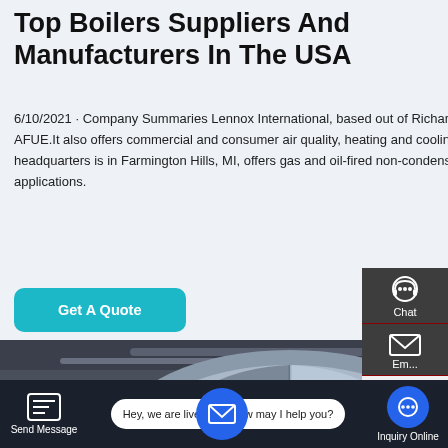Top Boilers Suppliers And Manufacturers In The USA
6/10/2021 · Company Summaries Lennox International, based out of Richardson, TX, offers consumer boilers with ratings from 82.7-95 AFUE.It also offers commercial and consumer air quality, heating and cooling, and control products. The Bosch Group, whose U.S. headquarters is in Farmington Hills, MI, offers gas and oil-fired non-condensing boilers as well as condensing boilers for residential applications.
[Figure (other): Get A Quote button — teal/cyan rounded rectangle button]
[Figure (photo): Industrial boiler equipment photograph showing large cylindrical boilers with pipes and ductwork in a factory/plant setting]
[Figure (infographic): Side widget panel with Chat, Email, and Contact icons on dark background, plus a TOP scroll button]
[Figure (infographic): Bottom navigation bar with Send Message icon, live chat bubble saying 'Hey, we are live 24/7. How may I help you?', and Inquiry Online button]